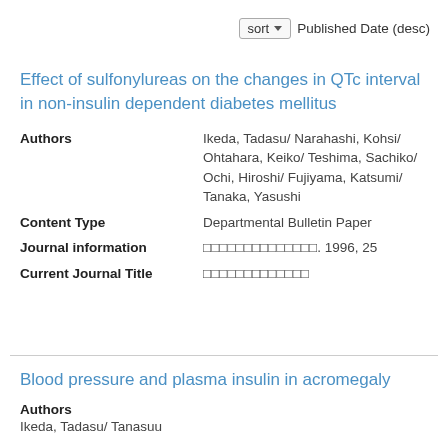sort ▾  Published Date (desc)
Effect of sulfonylureas on the changes in QTc interval in non-insulin dependent diabetes mellitus
| Field | Value |
| --- | --- |
| Authors | Ikeda, Tadasu/ Narahashi, Kohsi/ Ohtahara, Keiko/ Teshima, Sachiko/ Ochi, Hiroshi/ Fujiyama, Katsumi/ Tanaka, Yasushi |
| Content Type | Departmental Bulletin Paper |
| Journal information | □□□□□□□□□□□□□□. 1996, 25 |
| Current Journal Title | □□□□□□□□□□□□□ |
Blood pressure and plasma insulin in acromegaly
Authors   Ikeda, Tadasu/ Tanasuu...